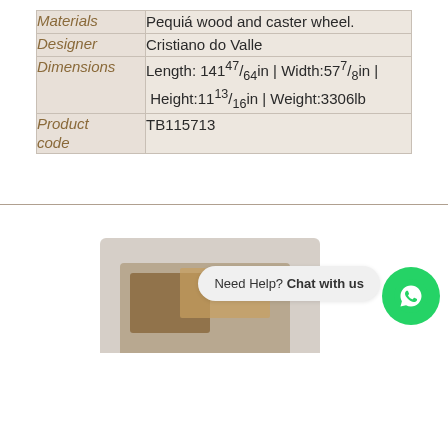|  |  |
| --- | --- |
| Materials | Pequiá wood and caster wheel. |
| Designer | Cristiano do Valle |
| Dimensions | Length: 14147/64in | Width:577/8in | Height:1113/16in | Weight:3306lb |
| Product code | TB115713 |
[Figure (photo): Bottom section showing a product image (wood piece on light surface) and a WhatsApp chat bubble saying 'Need Help? Chat with us' with a green WhatsApp icon button.]